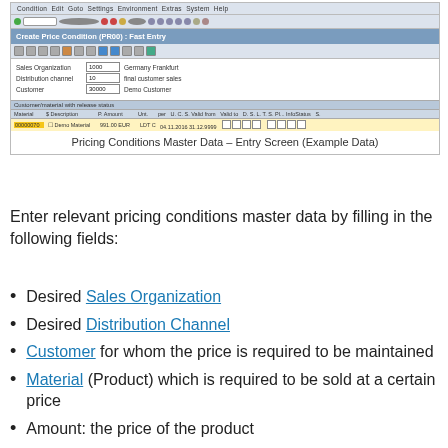[Figure (screenshot): SAP screen showing 'Create Price Condition (PR00): Fast Entry' with fields for Sales Organization (1000, Germany Frankfurt), Distribution Channel (10, final customer sales), Customer (30000, Demo Customer), and a table row with Material 00000070, Demo Material, amount 991.00 EUR, LDT C, valid from 04.11.2016 to 31.12.9999]
Pricing Conditions Master Data – Entry Screen (Example Data)
Enter relevant pricing conditions master data by filling in the following fields:
Desired Sales Organization
Desired Distribution Channel
Customer for whom the price is required to be maintained
Material (Product) which is required to be sold at a certain price
Amount: the price of the product